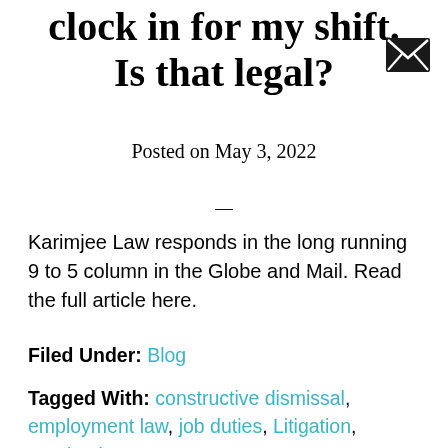clock in for my shift. Is that legal?
Posted on May 3, 2022
—
Karimjee Law responds in the long running 9 to 5 column in the Globe and Mail. Read the full article here.
Filed Under: Blog
Tagged With: constructive dismissal, employment law, job duties, Litigation, termination